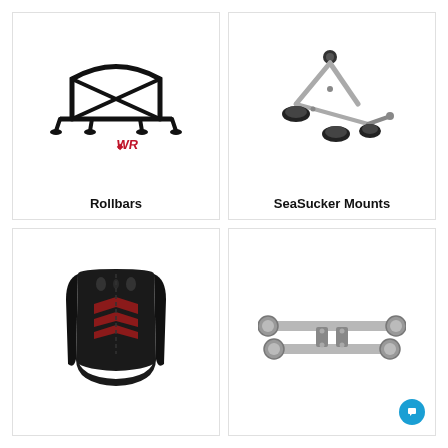[Figure (photo): Black metal rollbar/roll cage structure with crossed diagonal bars and four feet, with a red WR logo in the lower right of the image]
Rollbars
[Figure (photo): Silver SeaSucker vacuum mount system with three large black suction cups and aluminum arms/hardware]
SeaSucker Mounts
[Figure (photo): Black and red racing bucket seat with bolstered sides and red chevron pattern on the seating surface]
[Figure (photo): Silver metal sway bar or suspension linkage rods with end links]